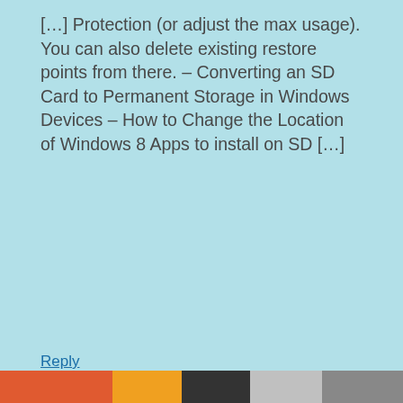[…] Protection (or adjust the max usage). You can also delete existing restore points from there. – Converting an SD Card to Permanent Storage in Windows Devices – How to Change the Location of Windows 8 Apps to install on SD […]
Reply
Venue 8 pro – powering on problems – Page 6
Privacy & Cookies: This site uses cookies. By continuing to use this website, you agree to their use.
To find out more, including how to control cookies, see here: Cookie Policy
Close and accept